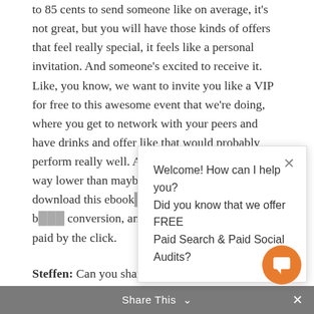to 85 cents to send someone like on average, it's not great, but you will have those kinds of offers that feel really special, it feels like a personal invitation. And someone's excited to receive it. Like, you know, we want to invite you like a VIP for free to this awesome event that we're doing, where you get to network with your peers and have drinks and offer like that would probably perform really well. And you'd probably s[ee a cost per click] way lower than maybe sponsored content. B[ut if you ask someone to] download this ebook[...] rep, chances are it'll b[e a much higher cost per] conversion, and you'll wish that you just paid by the click.
[Figure (screenshot): Chat popup overlay with close X button, text: 'Welcome! How can I help you? Did you know that we offer FREE Paid Search & Paid Social Audits?']
Steffen: Can you share some best practices when
Share This ∨